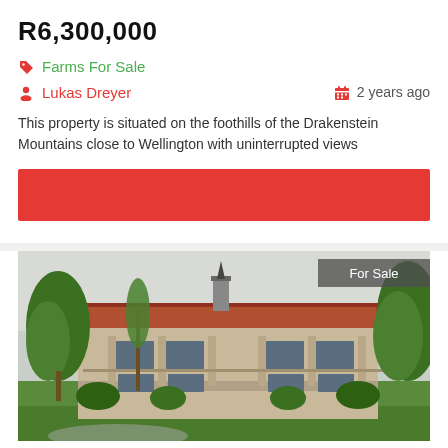R6,300,000
Farms For Sale
Lukas Dreyer · 2 years ago
This property is situated on the foothills of the Drakenstein Mountains close to Wellington with uninterrupted views
[Figure (other): Red banner bar]
[Figure (photo): Two-storey lodge building with terracotta tile roof, columns, balconies, surrounded by green trees and lawn. 'For Sale' badge in top right corner.]
Boutique Lodge